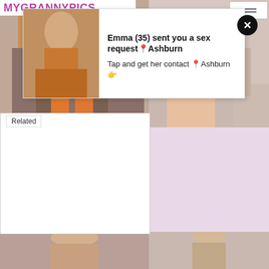MYGRANNYPICS
[Figure (photo): Partial photo of a woman with blonde hair in orange clothing, lower body visible with sandals on wooden deck]
[Figure (photo): Partial photo of a woman's legs near kitchen counter]
Related
[Figure (screenshot): Ad popup overlay: Emma (35) sent you a sex request in Ashburn. Tap and get her contact in Ashburn.]
[Figure (photo): Bottom left photo: woman with blonde hair and red lips]
[Figure (photo): Bottom right photo: woman with hair up]